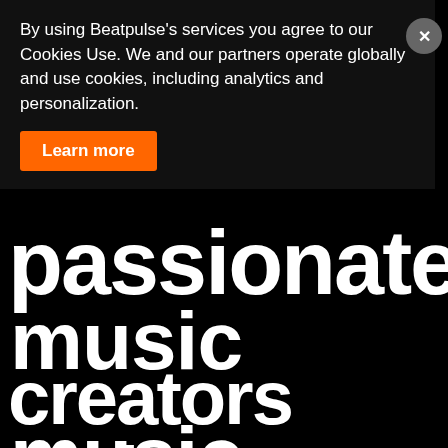By using Beatpulse's services you agree to our Cookies Use. We and our partners operate globally and use cookies, including analytics and personalization.
Learn more
passionate,
music
creators and
music